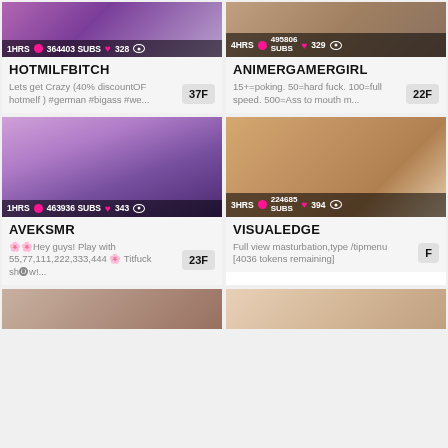[Figure (screenshot): Top-left livestream thumbnail, purple toned, with overlay bar showing 1HRS, pink dot, 364403 SUBS, heart 328, eye icon]
HOTMILFBITCH
Lets get Crazy (40% discountOF hotmelf ) #german #bigass #we...
37F
[Figure (screenshot): Top-right livestream thumbnail, warm toned, with overlay bar showing 4HRS, pink dot, 495806 SUBS, heart 329, eye icon]
ANIMERGAMERGIRL
15+=poking. 50=hard fuck. 100=full speed. 500=Ass to mouth m...
22F
[Figure (screenshot): Mid-left livestream thumbnail showing woman in white bra, purple lighting, overlay bar showing 1HRS, pink dot, 463936 SUBS, heart 343, eye icon]
AVEKSMR
🌸🌸Hey guys! Play with 55,77,111,222,333,444 🌸 Titfuck sh🅞w!...
23F
[Figure (screenshot): Mid-right livestream thumbnail showing person's torso, warm skin tones, overlay bar showing 3HRS, pink dot, 224685 SUBS, heart 394, eye icon]
VISUALEDGE
Full view masturbation,type /tipmenu [4036 tokens remaining]
F
[Figure (screenshot): Bottom-left livestream thumbnail, partial view]
[Figure (screenshot): Bottom-right livestream thumbnail, partial view]